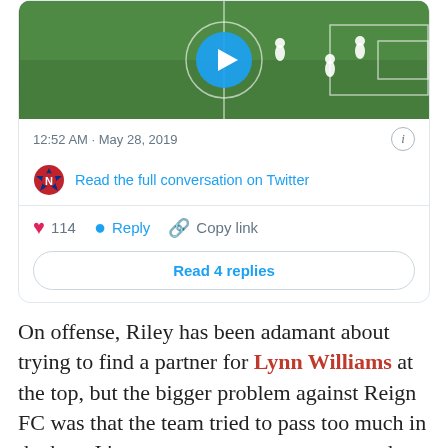[Figure (screenshot): Twitter/social media embed card showing a soccer video thumbnail with a play button, timestamp '12:52 AM · May 28, 2019', NWSL logo, 'Read the full conversation on Twitter' link, action buttons (heart/114, Reply, Copy link), and 'Read 4 replies' button]
On offense, Riley has been adamant about trying to find a partner for Lynn Williams at the top, but the bigger problem against Reign FC was that the team tried to pass too much in the box. It's great to try to create an easy shot, but sometimes you just need to bang the ball in there and look for a deflection. That